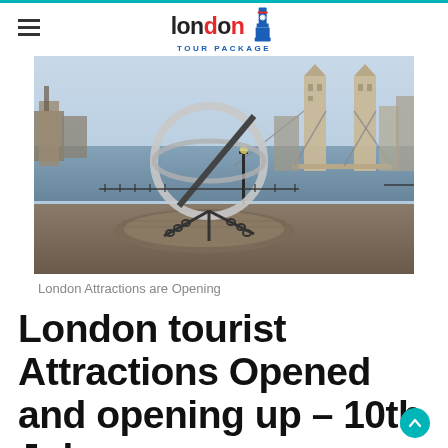london TOUR PACKAGE
[Figure (photo): Sundial sculpture with Tower Bridge visible in the background along the Thames riverbank in London.]
London Attractions are Opening
London tourist Attractions Opened and opening up – 10th July